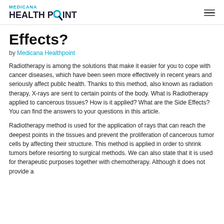[Figure (logo): Medicana Healthpoint logo with teal text and magnifying glass icon]
Effects?
by Medicana Healthpoint
Radiotherapy is among the solutions that make it easier for you to cope with cancer diseases, which have been seen more effectively in recent years and seriously affect public health. Thanks to this method, also known as radiation therapy, X-rays are sent to certain points of the body. What is Radiotherapy applied to cancerous tissues? How is it applied? What are the Side Effects? You can find the answers to your questions in this article.
Radiotherapy method is used for the application of rays that can reach the deepest points in the tissues and prevent the proliferation of cancerous tumor cells by affecting their structure. This method is applied in order to shrink tumors before resorting to surgical methods. We can also state that it is used for therapeutic purposes together with chemotherapy. Although it does not provide a complete solution, it can restrict it and the probability of